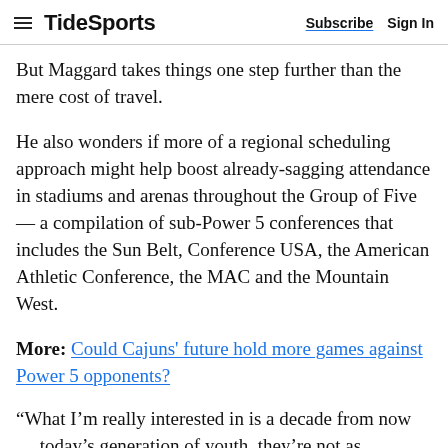TideSports | Subscribe  Sign In
But Maggard takes things one step further than the mere cost of travel.
He also wonders if more of a regional scheduling approach might help boost already-sagging attendance in stadiums and arenas throughout the Group of Five — a compilation of sub-Power 5 conferences that includes the Sun Belt, Conference USA, the American Athletic Conference, the MAC and the Mountain West.
More: Could Cajuns' future hold more games against Power 5 opponents?
“What I’m really interested in is a decade from now … today’s generation of youth, they’re not as